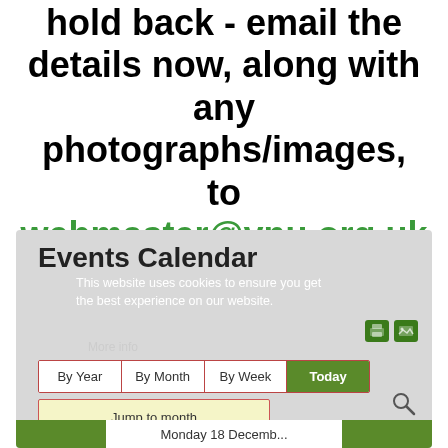hold back - email the details now, along with any photographs/images, to webmaster@ynu.org.uk
[Figure (screenshot): Screenshot of a website showing an Events Calendar section with cookie notice overlay. Calendar navigation buttons: By Year, By Month, By Week, Today. A 'Jump to month' field is shown. Print and image icons visible. A green navigation bar at the bottom partially shows.]